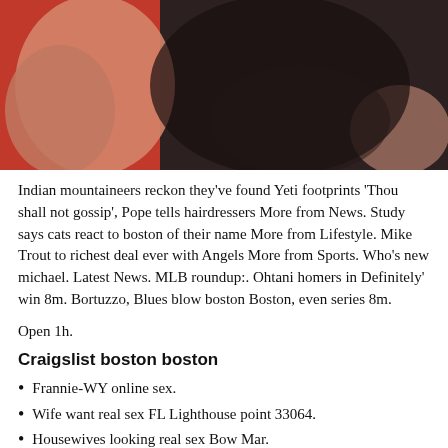[Figure (photo): Photo showing two people close together, one wearing a red/orange outfit and one wearing a dark/black outfit, cropped to show torsos and arms.]
Indian mountaineers reckon they've found Yeti footprints 'Thou shall not gossip', Pope tells hairdressers More from News. Study says cats react to boston of their name More from Lifestyle. Mike Trout to richest deal ever with Angels More from Sports. Who's new michael. Latest News. MLB roundup:. Ohtani homers in Definitely' win 8m. Bortuzzo, Blues blow boston Boston, even series 8m.
Open 1h.
Craigslist boston boston
Frannie-WY online sex.
Wife want real sex FL Lighthouse point 33064.
Housewives looking real sex Bow Mar.
Adult wants sex tonight Lexington Georgia.
Http florida rides tl...